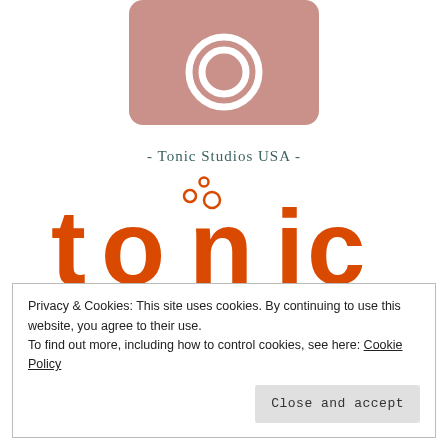[Figure (logo): Camera icon placeholder — mauve/rosy pink rounded rectangle with a white camera outline and circular lens]
- Tonic Studios USA -
[Figure (logo): Tonic Studios logo in orange: lowercase 'tonic' in large rounded sans-serif typeface with bubble dots above the 'o', and 'studios' in spaced-out smaller letters below]
Privacy & Cookies: This site uses cookies. By continuing to use this website, you agree to their use.
To find out more, including how to control cookies, see here: Cookie Policy
Close and accept